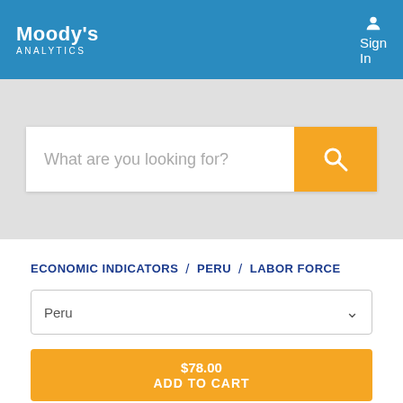Moody's Analytics
[Figure (screenshot): Search bar with placeholder text 'What are you looking for?' and an orange search button with magnifying glass icon]
ECONOMIC INDICATORS / PERU / LABOR FORCE
Peru
$78.00 ADD TO CART